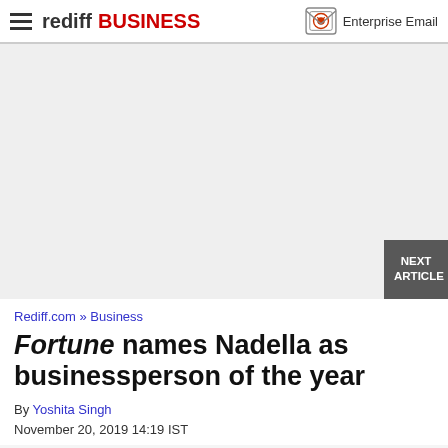rediff BUSINESS | Enterprise Email
[Figure (other): Gray advertisement/placeholder area with NEXT ARTICLE button in bottom right corner]
Rediff.com » Business
Fortune names Nadella as businessperson of the year
By Yoshita Singh
November 20, 2019 14:19 IST